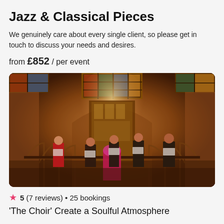Jazz & Classical Pieces
We genuinely care about every single client, so please get in touch to discuss your needs and desires.
from £852 / per event
[Figure (photo): Choir singers performing in a gothic/romanesque church interior with stained glass windows, brick arches, and ornate altar. Four singers on a stage area, dressed in black and red.]
★ 5 (7 reviews) • 25 bookings
'The Choir' Create a Soulful Atmosphere